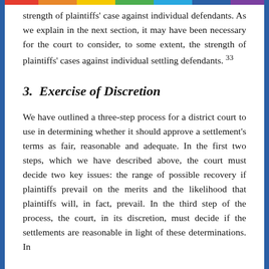strength of plaintiffs' case against individual defendants. As we explain in the next section, it may have been necessary for the court to consider, to some extent, the strength of plaintiffs' cases against individual settling defendants. 33
3.  Exercise of Discretion
We have outlined a three-step process for a district court to use in determining whether it should approve a settlement's terms as fair, reasonable and adequate. In the first two steps, which we have described above, the court must decide two key issues: the range of possible recovery if plaintiffs prevail on the merits and the likelihood that plaintiffs will, in fact, prevail. In the third step of the process, the court, in its discretion, must decide if the settlements are reasonable in light of these determinations. In